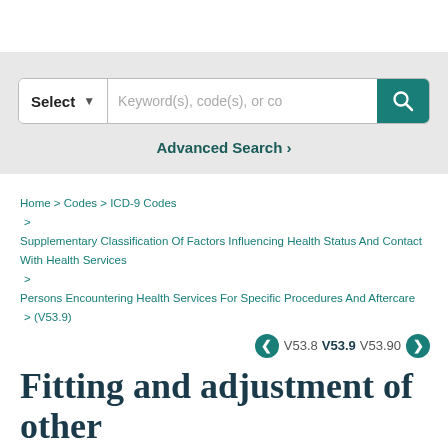[Figure (screenshot): Search bar UI with Select dropdown, keyword/code search input field, and teal search button with magnifying glass icon]
Advanced Search >
Home > Codes > ICD-9 Codes > Supplementary Classification Of Factors Influencing Health Status And Contact With Health Services > Persons Encountering Health Services For Specific Procedures And Aftercare > (V53.9)
V53.8  V53.9  V53.90
Fitting and adjustment of other